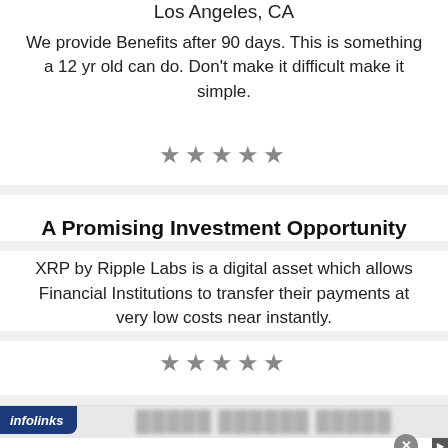Los Angeles, CA
We provide Benefits after 90 days. This is something a 12 yr old can do. Don't make it difficult make it simple.
[Figure (other): Five star rating icons (gray stars)]
A Promising Investment Opportunity
XRP by Ripple Labs is a digital asset which allows Financial Institutions to transfer their payments at very low costs near instantly.
[Figure (other): Five star rating icons (gray stars)]
[Figure (other): Advertisement banner: infolinks bar, blurred ad header, Kokorosa Cutting Dies ad with fox logo, tagline 'Cutting dies, stamps, and embossing folders', URL kokorosastudio.com, arrow button]